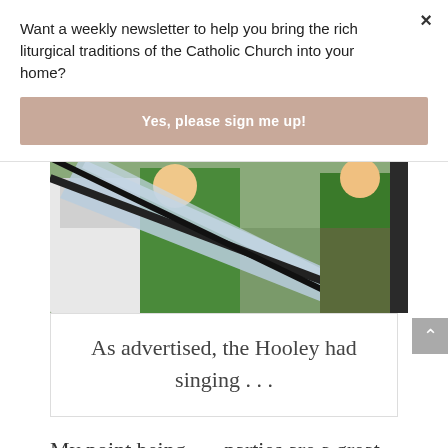Want a weekly newsletter to help you bring the rich liturgical traditions of the Catholic Church into your home?
Yes, please sign me up!
[Figure (photo): Children in green shirts holding large fabric or paper outdoors]
As advertised, the Hooley had singing . . .
My point being . . . parties are a great way to celebrate feasts and share them